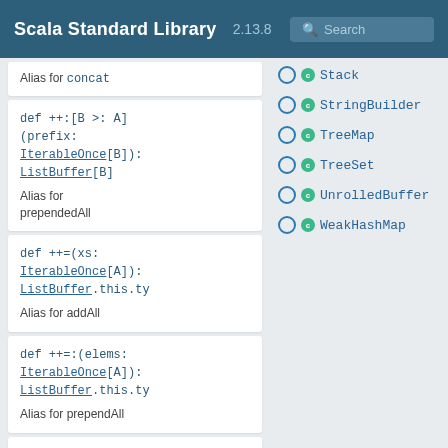Scala Standard Library 2.13.8
Alias for concat
def ++:[B >: A](prefix: IterableOnce[B]): ListBuffer[B]
Alias for prependedAll
def ++=(xs: IterableOnce[A]): ListBuffer.this.ty
Alias for addAll
def ++=:(elems: IterableOnce[A]): ListBuffer.this.ty
Alias for prependAll
def +:[B >: A](elem: B): ListBuffer[B]
Alias for prepended.
Stack
StringBuilder
TreeMap
TreeSet
UnrolledBuffer
WeakHashMap